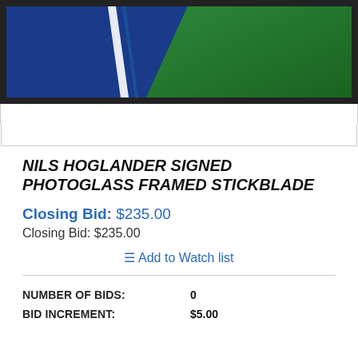[Figure (photo): Framed hockey stick blade with signed photoglass, showing a Vancouver Canucks jersey in blue and green colors, displayed in a black frame]
NILS HOGLANDER SIGNED PHOTOGLASS FRAMED STICKBLADE
Closing Bid: $235.00
Closing Bid: $235.00
Add to Watch list
| Field | Value |
| --- | --- |
| NUMBER OF BIDS: | 0 |
| BID INCREMENT: | $5.00 |